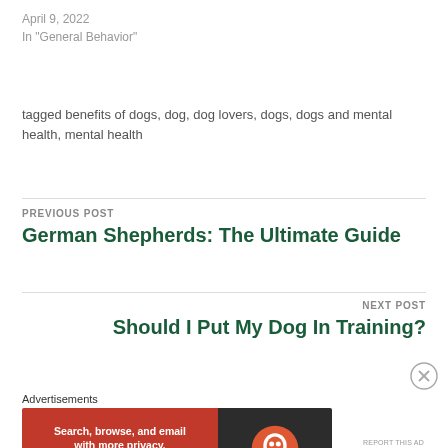April 9, 2022
In "General Behavior"
tagged benefits of dogs, dog, dog lovers, dogs, dogs and mental health, mental health
PREVIOUS POST
German Shepherds: The Ultimate Guide
NEXT POST
Should I Put My Dog In Training?
Advertisements
[Figure (screenshot): DuckDuckGo advertisement banner: orange left section with text 'Search, browse, and email with more privacy. All in One Free App', dark right section with DuckDuckGo logo.]